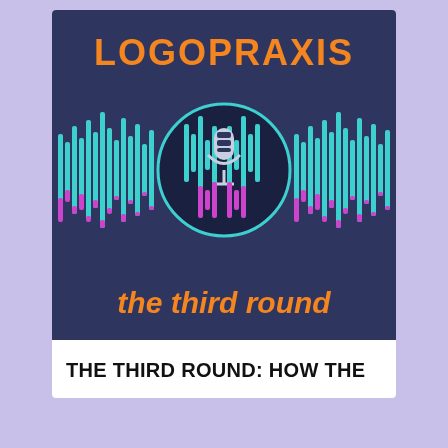[Figure (logo): Logopraxis podcast logo on dark navy background with audio waveform bars in teal and magenta, a microphone icon centered inside a teal circle, orange text 'LOGOPRAXIS' at top and 'the third round' in italic orange at bottom]
THE THIRD ROUND: HOW THE